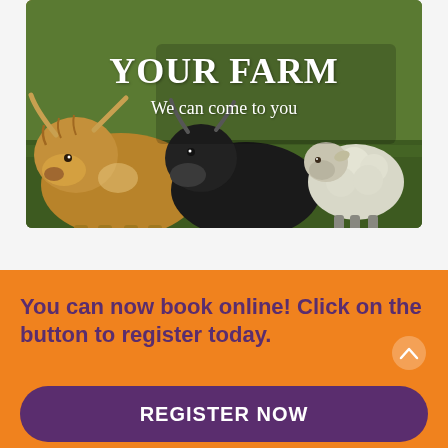[Figure (photo): Photo of farm animals — a highland cow on the left, a black cow in the center, and a sheep on the right, standing in a green grassy field. Overlaid with bold white text 'YOUR FARM' and subtitle 'We can come to you'.]
YOUR FARM
We can come to you
You can now book online! Click on the button to register today.
REGISTER NOW